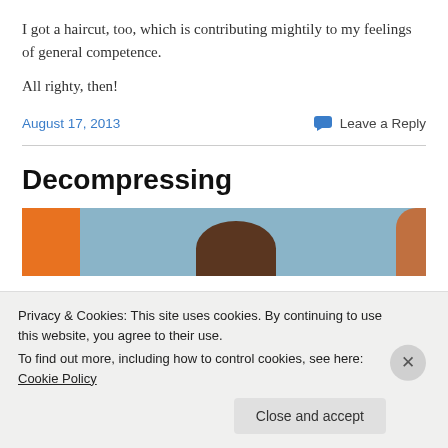I got a haircut, too, which is contributing mightily to my feelings of general competence.
All righty, then!
August 17, 2013    Leave a Reply
Decompressing
[Figure (photo): Partial photo showing an orange background on the left, a blue/grey background in the center with a dark brown rounded shape at the bottom (top of a head), and a hand visible at the right edge.]
Privacy & Cookies: This site uses cookies. By continuing to use this website, you agree to their use.
To find out more, including how to control cookies, see here: Cookie Policy
Close and accept